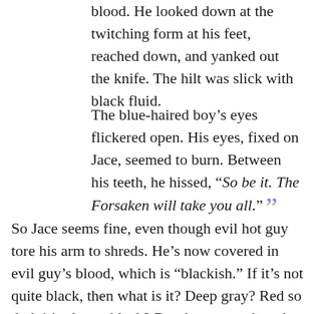blood. He looked down at the twitching form at his feet, reached down, and yanked out the knife. The hilt was slick with black fluid.
The blue-haired boy's eyes flickered open. His eyes, fixed on Jace, seemed to burn. Between his teeth, he hissed, “So be it. The Forsaken will take you all.”
So Jace seems fine, even though evil hot guy tore his arm to shreds. He’s now covered in evil guy’s blood, which is “blackish.” If it’s not quite black, then what is it? Deep gray? Red so dark it’s almost black? But then, even though it’s not quite black, it makes